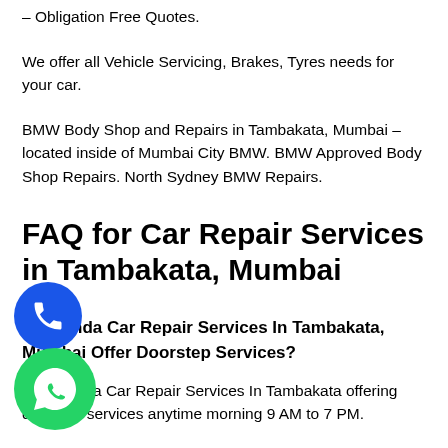– Obligation Free Quotes.
We offer all Vehicle Servicing, Brakes, Tyres needs for your car.
BMW Body Shop and Repairs in Tambakata, Mumbai – located inside of Mumbai City BMW. BMW Approved Body Shop Repairs. North Sydney BMW Repairs.
FAQ for Car Repair Services in Tambakata, Mumbai
Do Honda Car Repair Services In Tambakata, Mumbai Offer Doorstep Services?
Yes, Honda Car Repair Services In Tambakata offering doorstep services anytime morning 9 AM to 7 PM.